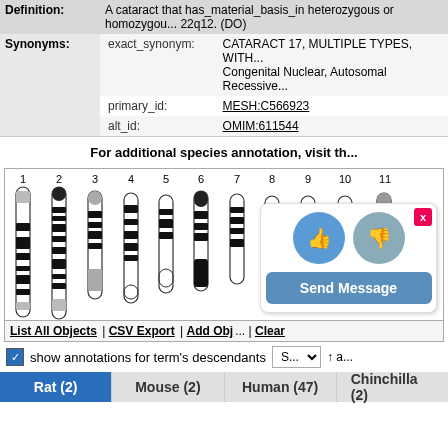| Definition: | A cataract that has_material_basis_in heterozygous or homozygou... 22q12. (DO) |
| Synonyms: | exact_synonym: | CATARACT 17, MULTIPLE TYPES, WITH... Congenital Nuclear, Autosomal Recessive... |
|  | primary_id: | MESH:C566923 |
|  | alt_id: | OMIM:611544 |
For additional species annotation, visit th...
[Figure (other): Human karyotype ideogram showing chromosomes 1 through 11 with banding patterns. Below the ideogram are controls: List All Objects | CSV Export | Add Obj... | Clear]
show annotations for term's descendants
| Rat (2) | Mouse (2) | Human (47) | Chinchilla (2) |
| --- | --- | --- | --- |